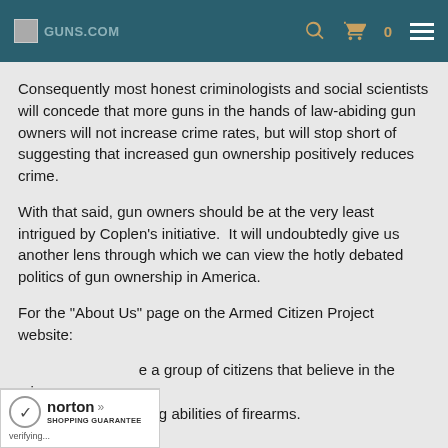Guns.com header navigation
Consequently most honest criminologists and social scientists will concede that more guns in the hands of law-abiding gun owners will not increase crime rates, but will stop short of suggesting that increased gun ownership positively reduces crime.
With that said, gun owners should be at the very least intrigued by Coplen's initiative.  It will undoubtedly give us another lens through which we can view the hotly debated politics of gun ownership in America.
For the "About Us" page on the Armed Citizen Project website:
...e a group of citizens that believe in the crime ...ing abilities of firearms.
[Figure (logo): Norton Shopping Guarantee badge with checkmark logo, verifying... text]